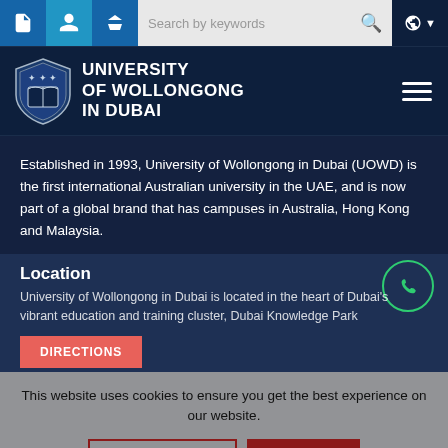[Figure (screenshot): University website top navigation bar with icons and search field]
[Figure (logo): University of Wollongong in Dubai logo with shield emblem and text]
Established in 1993, University of Wollongong in Dubai (UOWD) is the first international Australian university in the UAE, and is now part of a global brand that has campuses in Australia, Hong Kong and Malaysia.
Location
University of Wollongong in Dubai is located in the heart of Dubai's vibrant education and training cluster, Dubai Knowledge Park
This website uses cookies to ensure you get the best experience on our website.
DIRECTIONS
LEARN MORE
✓ ACCEPT
Forms
Quick Links